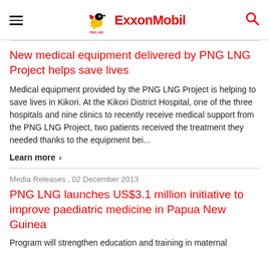PNG LNG | ExxonMobil
New medical equipment delivered by PNG LNG Project helps save lives
Medical equipment provided by the PNG LNG Project is helping to save lives in Kikori. At the Kikori District Hospital, one of the three hospitals and nine clinics to recently receive medical support from the PNG LNG Project, two patients received the treatment they needed thanks to the equipment bei...
Learn more ›
Media Releases , 02 December 2013
PNG LNG launches US$3.1 million initiative to improve paediatric medicine in Papua New Guinea
Program will strengthen education and training in maternal